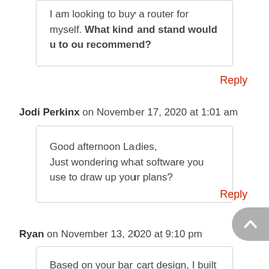I am looking to buy a router for myself. What kind and stand would u to ou recommend?
Reply
Jodi Perkinx on November 17, 2020 at 1:01 am
Good afternoon Ladies,
Just wondering what software you use to draw up your plans?
Reply
Ryan on November 13, 2020 at 9:10 pm
Based on your bar cart design, I built two carts from a couple of chunks of oak that fit into our laundry room closet. Found eight leftover...